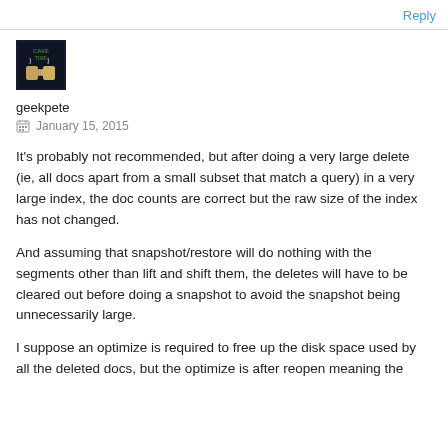Reply
[Figure (photo): User avatar image for geekpete showing a dark themed 'Cave Time' graphic with cartoon characters]
geekpete
January 15, 2015
It's probably not recommended, but after doing a very large delete (ie, all docs apart from a small subset that match a query) in a very large index, the doc counts are correct but the raw size of the index has not changed.
And assuming that snapshot/restore will do nothing with the segments other than lift and shift them, the deletes will have to be cleared out before doing a snapshot to avoid the snapshot being unnecessarily large.
I suppose an optimize is required to free up the disk space used by all the deleted docs, but the optimize is after reopen meaning the...